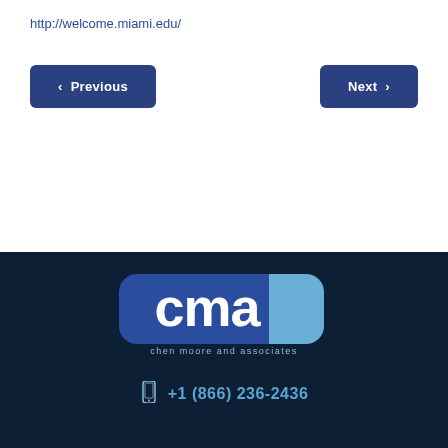http://welcome.miami.edu/
< Previous
Next >
[Figure (logo): CMA logo with rounded rectangle background — dark blue left section with white 'cma' text and lighter blue right section. Tagline: 'chen moore and associates']
+1 (866) 236-2436